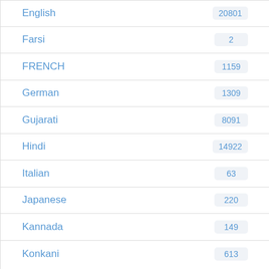| Language | Count |
| --- | --- |
| English | 20801 |
| Farsi | 2 |
| FRENCH | 1159 |
| German | 1309 |
| Gujarati | 8091 |
| Hindi | 14922 |
| Italian | 63 |
| Japanese | 220 |
| Kannada | 149 |
| Konkani | 613 |